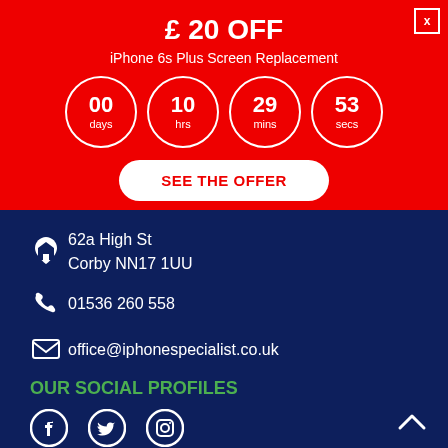£ 20 OFF
iPhone 6s Plus Screen Replacement
[Figure (infographic): Countdown timer showing 00 days, 10 hrs, 29 mins, 53 secs in white circles on red background]
SEE THE OFFER
62a High St
Corby NN17 1UU
01536 260 558
office@iphonespecialist.co.uk
OUR SOCIAL PROFILES
[Figure (infographic): Social media icons: Facebook, Twitter, Instagram]